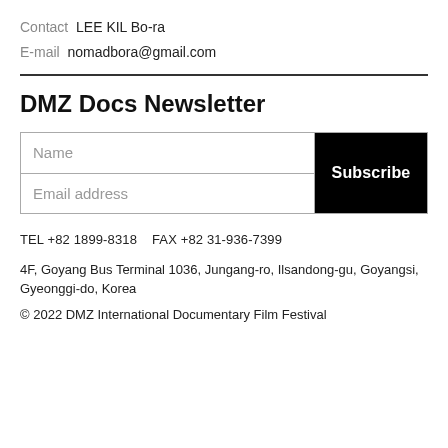Contact LEE KIL Bo-ra
E-mail nomadbora@gmail.com
DMZ Docs Newsletter
[Figure (other): Newsletter subscription form with Name field, Email address field, and Subscribe button]
TEL +82 1899-8318   FAX +82 31-936-7399
4F, Goyang Bus Terminal 1036, Jungang-ro, Ilsandong-gu, Goyangsi, Gyeonggi-do, Korea
© 2022 DMZ International Documentary Film Festival